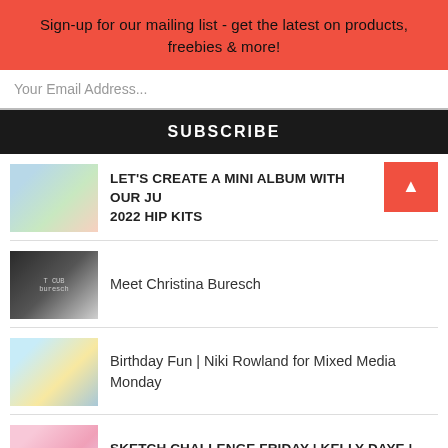Sign-up for our mailing list - get the latest on products, freebies & more!
Your Email Address...
SUBSCRIBE
LET'S CREATE A MINI ALBUM WITH OUR JU... 2022 HIP KITS
Meet Christina Buresch
Birthday Fun | Niki Rowland for Mixed Media Monday
SKETCH CHALLENGE FRIDAY | KELLY DAYE | NOVEMBER 2021 HIP KITS